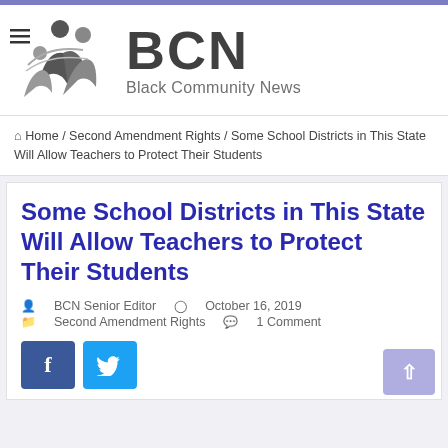[Figure (logo): BCN Black Community News logo with three stylized human figures in dark and light gray, and hamburger menu icon, with large BCN text and subtitle 'Black Community News']
Home / Second Amendment Rights / Some School Districts in This State Will Allow Teachers to Protect Their Students
Some School Districts in This State Will Allow Teachers to Protect Their Students
BCN Senior Editor   October 16, 2019   Second Amendment Rights   1 Comment